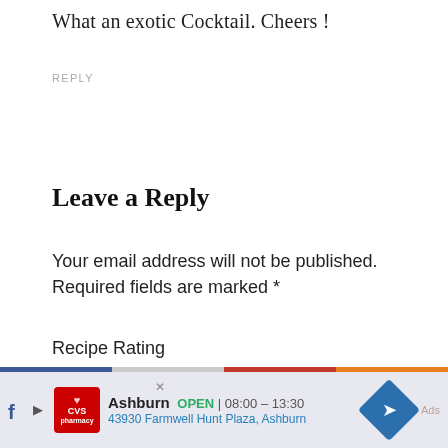What an exotic Cocktail. Cheers !
REPLY
Leave a Reply
Your email address will not be published. Required fields are marked *
Recipe Rating
☆☆☆☆☆
Comment *
[Figure (screenshot): CVS Pharmacy advertisement banner showing Ashburn location OPEN 08:00-13:30 at 43930 Farmwell Hunt Plaza, Ashburn]